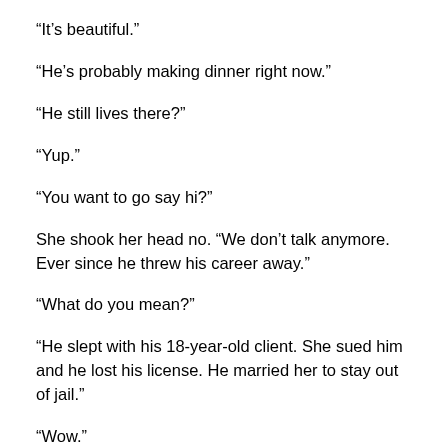“It’s beautiful.”
“He’s probably making dinner right now.”
“He still lives there?”
“Yup.”
“You want to go say hi?”
She shook her head no. “We don’t talk anymore. Ever since he threw his career away.”
“What do you mean?”
“He slept with his 18-year-old client. She sued him and he lost his license. He married her to stay out of jail.”
“Wow.”
“I guess she took my place.” Dana said